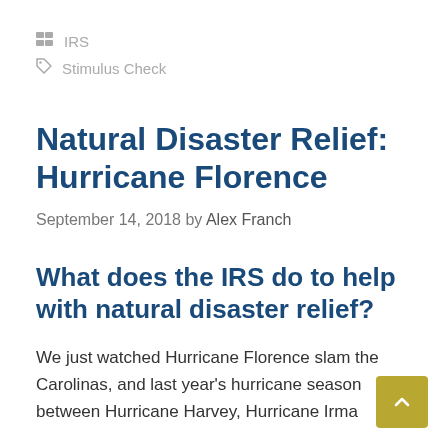IRS
Stimulus Check
Natural Disaster Relief: Hurricane Florence
September 14, 2018 by Alex Franch
What does the IRS do to help with natural disaster relief?
We just watched Hurricane Florence slam the Carolinas, and last year's hurricane season between Hurricane Harvey, Hurricane Irma